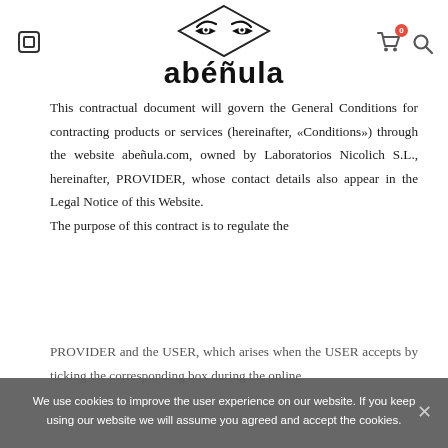[Figure (logo): Abéñula brand logo — diamond shape with stylized eye graphic above, bold sans-serif text 'abéñula' below]
This contractual document will govern the General Conditions for contracting products or services (hereinafter, «Conditions») through the website abeñula.com, owned by Laboratorios Nicolich S.L., hereinafter, PROVIDER, whose contact details also appear in the Legal Notice of this Website. The purpose of this contract is to regulate the PROVIDER and the USER, which arises when the USER accepts by ticking the corresponding box during the online
We use cookies to improve the user experience on our website. If you keep using our website we will assume you agreed and accept the cookies.